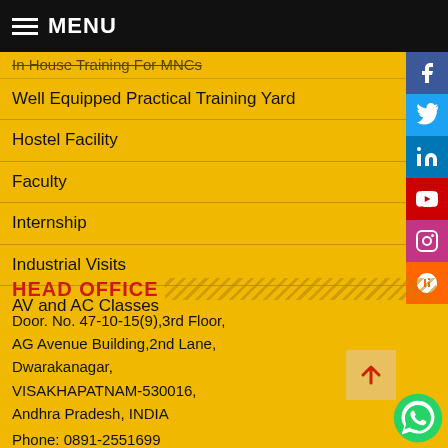MENU
In House Training For MNCs
Well Equipped Practical Training Yard
Hostel Facility
Faculty
Internship
Industrial Visits
AV and AC Classes
HEAD OFFICE
Door. No. 47-10-15(9),3rd Floor,
AG Avenue Building,2nd Lane,
Dwarakanagar,
VISAKHAPATNAM-530016,
Andhra Pradesh, INDIA
Phone: 0891-2551699